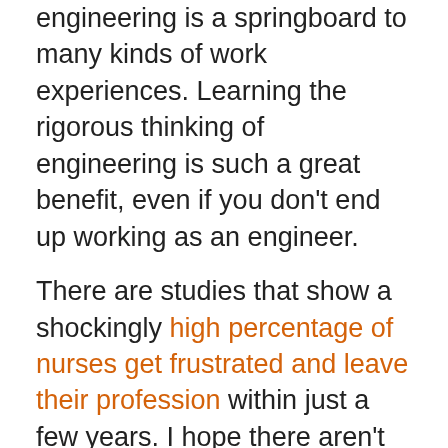engineering is a springboard to many kinds of work experiences. Learning the rigorous thinking of engineering is such a great benefit, even if you don't end up working as an engineer.
There are studies that show a shockingly high percentage of nurses get frustrated and leave their profession within just a few years. I hope there aren't similar rates for young engineers.
Notice
We and selected third parties use cookies or similar technologies for technical purposes and, with your consent, for other purposes as specified in the cookie policy. Denying consent may make related features unavailable.
You can consent to the use of such technologies by closing this notice, by scrolling this page, by interacting with any link or button outside of this notice or by continuing to browse otherwise.